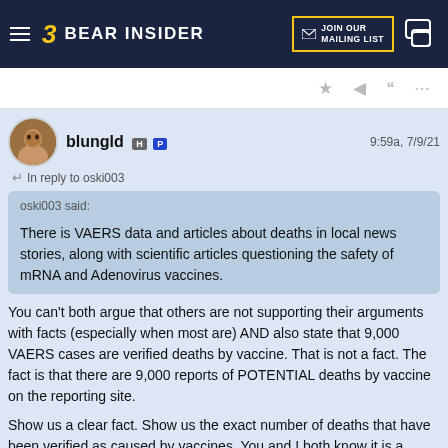Bear Insider — JOIN OUR MAILING LIST
blungld H P  9:59a, 7/9/21
In reply to oski003
oski003 said:

There is VAERS data and articles about deaths in local news stories, along with scientific articles questioning the safety of mRNA and Adenovirus vaccines.
You can't both argue that others are not supporting their arguments with facts (especially when most are) AND also state that 9,000 VAERS cases are verified deaths by vaccine. That is not a fact. The fact is that there are 9,000 reports of POTENTIAL deaths by vaccine on the reporting site.
Show us a clear fact. Show us the exact number of deaths that have been verified as caused by vaccines. You and I both know it is a statistical blip when put next to the number or vaccines administered and the number of deaths that there would be had those people not